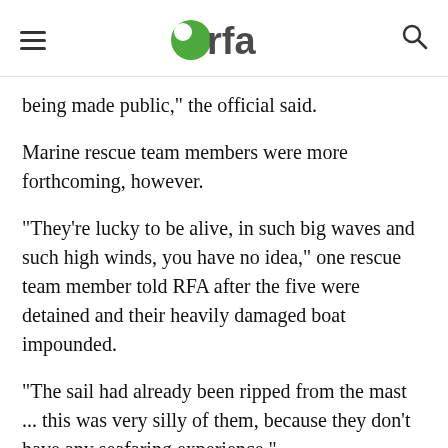rfa
being made public," the official said.
Marine rescue team members were more forthcoming, however.
"They're lucky to be alive, in such big waves and such high winds, you have no idea," one rescue team member told RFA after the five were detained and their heavily damaged boat impounded.
"The sail had already been ripped from the mast ... this was very silly of them, because they don't have any seafaring experience."